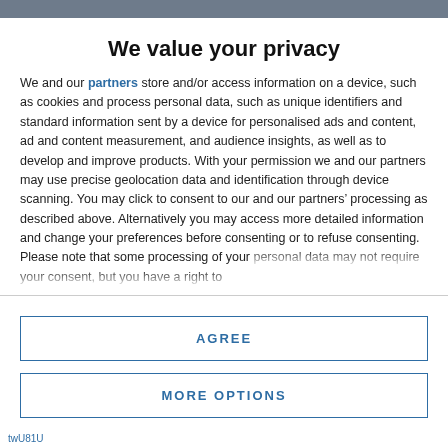We value your privacy
We and our partners store and/or access information on a device, such as cookies and process personal data, such as unique identifiers and standard information sent by a device for personalised ads and content, ad and content measurement, and audience insights, as well as to develop and improve products. With your permission we and our partners may use precise geolocation data and identification through device scanning. You may click to consent to our and our partners’ processing as described above. Alternatively you may access more detailed information and change your preferences before consenting or to refuse consenting. Please note that some processing of your personal data may not require your consent, but you have a right to
AGREE
MORE OPTIONS
twU81U